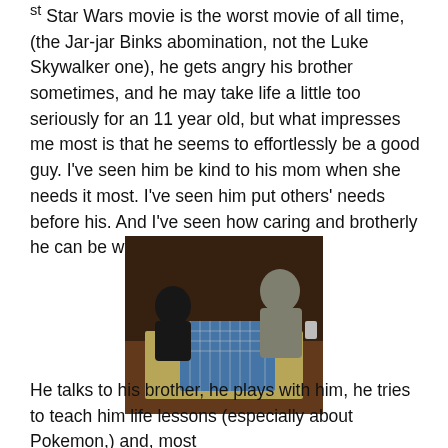1st Star Wars movie is the worst movie of all time, (the Jar-jar Binks abomination, not the Luke Skywalker one), he gets angry his brother sometimes, and he may take life a little too seriously for an 11 year old, but what impresses me most is that he seems to effortlessly be a good guy. I've seen him be kind to his mom when she needs it most. I've seen him put others' needs before his. And I've seen how caring and brotherly he can be with the youngest.
[Figure (photo): Two boys sitting at a table playing a board game (appears to be a checkers/ludo style game), photographed indoors with warm lighting]
He talks to his brother, he plays with him, he tries to teach him life lessons (especially about Pokemon,) and, most